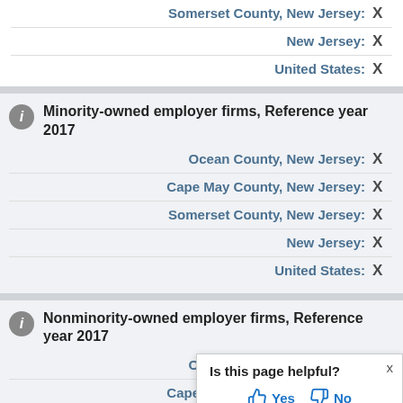Somerset County, New Jersey: X
New Jersey: X
United States: X
Minority-owned employer firms, Reference year 2017
Ocean County, New Jersey: X
Cape May County, New Jersey: X
Somerset County, New Jersey: X
New Jersey: X
United States: X
Nonminority-owned employer firms, Reference year 2017
Ocean County, New Jersey: X
Cape May Cou[nty, New Jersey]: X
Somerset Cou[nty, New Jersey]: X